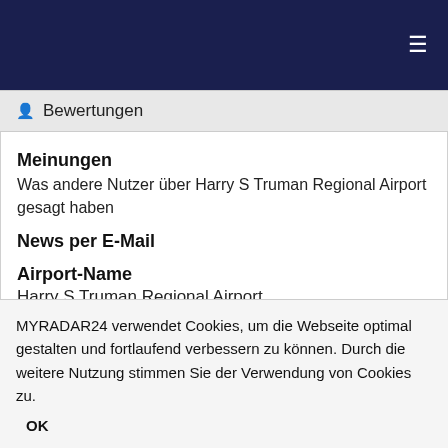Bewertungen
Meinungen
Was andere Nutzer über Harry S Truman Regional Airport gesagt haben
News per E-Mail
Airport-Name
Harry S Truman Regional Airport
Latitude
39.0181007385253
Longitude
MYRADAR24 verwendet Cookies, um die Webseite optimal gestalten und fortlaufend verbessern zu können. Durch die weitere Nutzung stimmen Sie der Verwendung von Cookies zu.
OK